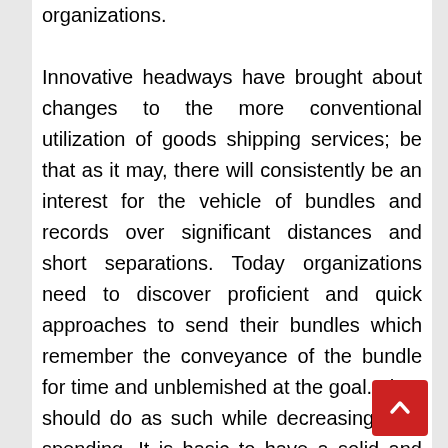organizations. Innovative headways have brought about changes to the more conventional utilization of goods shipping services; be that as it may, there will consistently be an interest for the vehicle of bundles and records over significant distances and short separations. Today organizations need to discover proficient and quick approaches to send their bundles which remember the conveyance of the bundle for time and unblemished at the goal. They should do as such while decreasing their spending. It is basic to have a solid and trustworthy conveyance service. A mail service can deal with their client shipment needs in a moderate and efficient way. A business will sit back and